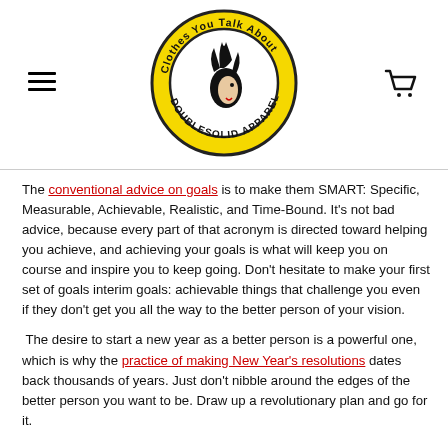[Figure (logo): Doublesolid Apparel circular logo with text 'Clothes You Talk About' and a stylized face with mohawk hair, yellow and black color scheme]
The conventional advice on goals is to make them SMART: Specific, Measurable, Achievable, Realistic, and Time-Bound. It's not bad advice, because every part of that acronym is directed toward helping you achieve, and achieving your goals is what will keep you on course and inspire you to keep going. Don't hesitate to make your first set of goals interim goals: achievable things that challenge you even if they don't get you all the way to the better person of your vision.
The desire to start a new year as a better person is a powerful one, which is why the practice of making New Year's resolutions dates back thousands of years. Just don't nibble around the edges of the better person you want to be. Draw up a revolutionary plan and go for it.